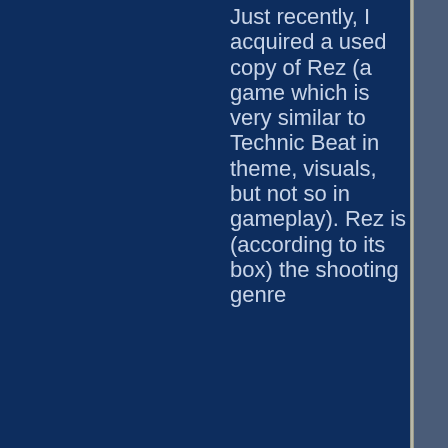Just recently, I acquired a used copy of Rez (a game which is very similar to Technic Beat in theme, visuals, but not so in gameplay). Rez is (according to its box) the shooting genre